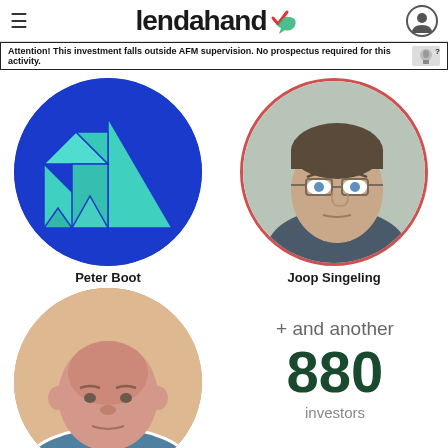lendahand
Attention! This investment falls outside AFM supervision. No prospectus required for this activity.
[Figure (illustration): Circular avatar with blue background showing a tangram sailboat shape in teal/cyan]
Peter Boot
[Figure (photo): Circular avatar with red border showing photo of middle-aged man with glasses]
Joop Singeling
[Figure (photo): Circular avatar showing photo of bald middle-aged man in striped shirt]
+ and another 880 investors